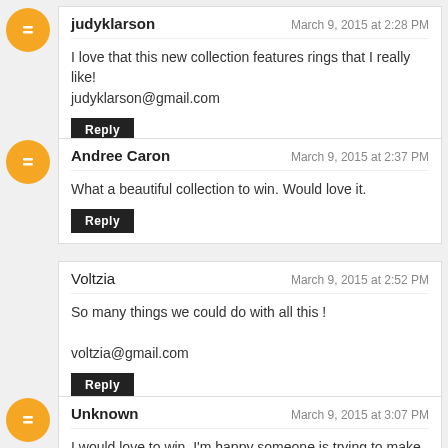judyklarson — March 9, 2015 at 2:28 PM
I love that this new collection features rings that I really like!
judyklarson@gmail.com
[Reply]
Andree Caron — March 9, 2015 at 2:37 PM
What a beautiful collection to win. Would love it.
[Reply]
Voltzia — March 9, 2015 at 2:52 PM
So many things we could do with all this !
voltzia@gmail.com
[Reply]
Unknown — March 9, 2015 at 3:07 PM
I would love to win, I'm happy someone is trying to make it